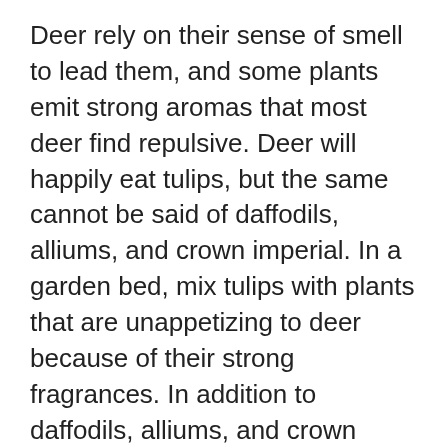Deer rely on their sense of smell to lead them, and some plants emit strong aromas that most deer find repulsive. Deer will happily eat tulips, but the same cannot be said of daffodils, alliums, and crown imperial. In a garden bed, mix tulips with plants that are unappetizing to deer because of their strong fragrances. In addition to daffodils, alliums, and crown imperial, gardeners can deter hungry deer by planting lavender, mint, chives, garlic, marigolds, foxglove, and rosemary. Lamb's ear and yarrow are also repulsive to deer due to their bristly textures. The drawback of using this method to deter deer is that you will have to rotate deer-deterring plants throughout the